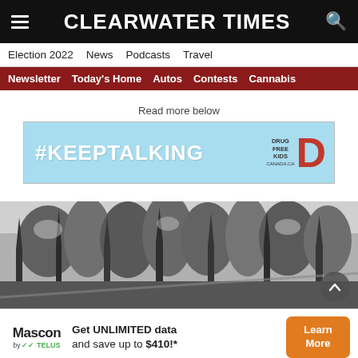CLEARWATER TIMES
Election 2022  News  Podcasts  Travel
Newsletter  Today's Home  Autos  Contests  Cannabis
Read more below
[Figure (other): #KEEPTALKING Drug Free Kids advertisement banner with light blue background]
[Figure (photo): Black and white photograph of a forest scene with trees]
[Figure (other): Mascon by Telus advertisement: Get UNLIMITED data and save up to $410!* Learn More]